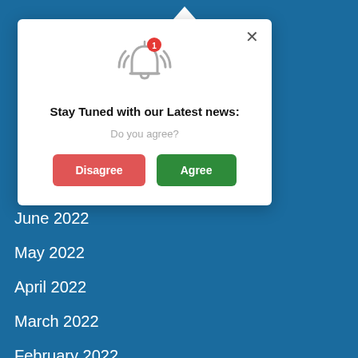[Figure (screenshot): Notification bell icon with red badge showing '1']
Stay Tuned with our Latest news:
Do you agree?
Disagree
Agree
June 2022
May 2022
April 2022
March 2022
February 2022
January 2022